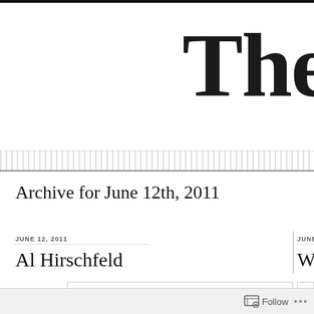The Dai
Archive for June 12th, 2011
JUNE 12, 2011
Al Hirschfeld
JUNE 12,
Wede
[Figure (illustration): Partial pen/pencil illustration sketch]
Follow ...